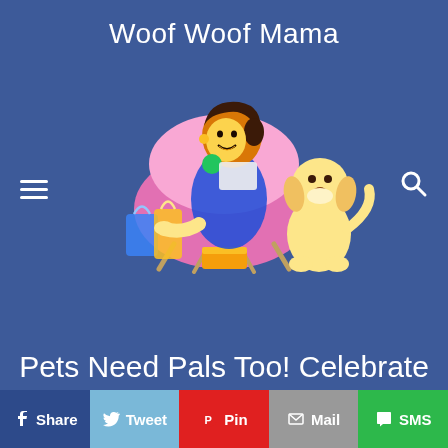Woof Woof Mama
[Figure (illustration): Cartoon illustration of a woman sitting in a pink chair reading, with shopping bags beside her and a yellow Labrador puppy sitting next to her. Used as the site logo for Woof Woof Mama blog.]
Pets Need Pals Too! Celebrate National Get A PAL For Your Pet Day!
Share  Tweet  Pin  Mail  SMS